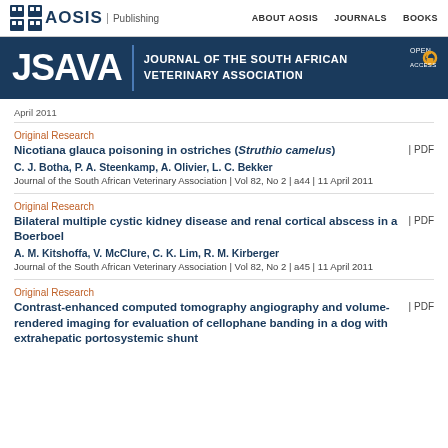[Figure (logo): AOSIS Publishing logo with nav links: ABOUT AOSIS, JOURNALS, BOOKS]
[Figure (logo): JSAVA Journal of the South African Veterinary Association banner with Open Access badge]
April 2011
Original Research
Nicotiana glauca poisoning in ostriches (Struthio camelus)
C. J. Botha, P. A. Steenkamp, A. Olivier, L. C. Bekker
Journal of the South African Veterinary Association | Vol 82, No 2 | a44 | 11 April 2011
Original Research
Bilateral multiple cystic kidney disease and renal cortical abscess in a Boerboel
A. M. Kitshoffa, V. McClure, C. K. Lim, R. M. Kirberger
Journal of the South African Veterinary Association | Vol 82, No 2 | a45 | 11 April 2011
Original Research
Contrast-enhanced computed tomography angiography and volume-rendered imaging for evaluation of cellophane banding in a dog with extrahepatic portosystemic shunt